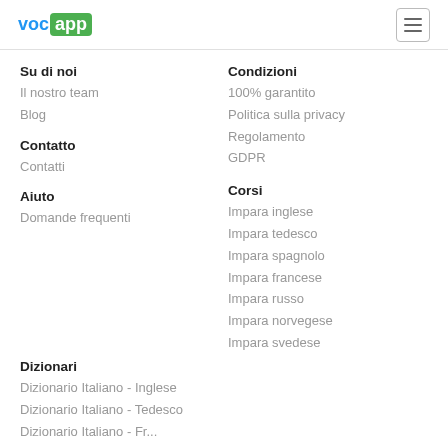VocApp
Su di noi
Il nostro team
Blog
Contatto
Contatti
Aiuto
Domande frequenti
Condizioni
100% garantito
Politica sulla privacy
Regolamento
GDPR
Corsi
Impara inglese
Impara tedesco
Impara spagnolo
Impara francese
Impara russo
Impara norvegese
Impara svedese
Dizionari
Dizionario Italiano - Inglese
Dizionario Italiano - Tedesco
Dizionario Italiano - Fr...